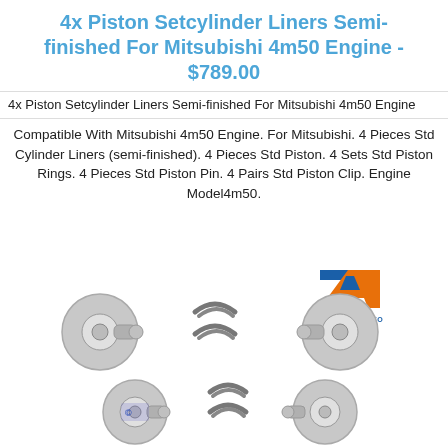4x Piston Setcylinder Liners Semi-finished For Mitsubishi 4m50 Engine - $789.00
4x Piston Setcylinder Liners Semi-finished For Mitsubishi 4m50 Engine
Compatible With Mitsubishi 4m50 Engine. For Mitsubishi. 4 Pieces Std Cylinder Liners (semi-finished). 4 Pieces Std Piston. 4 Sets Std Piston Rings. 4 Pieces Std Piston Pin. 4 Pairs Std Piston Clip. Engine Model4m50.
[Figure (photo): Product photo showing piston set cylinder liners components including two rotor/disc assemblies with piston rings arranged between them, shown in two rows. Transit Auto logo visible in upper right of image area.]